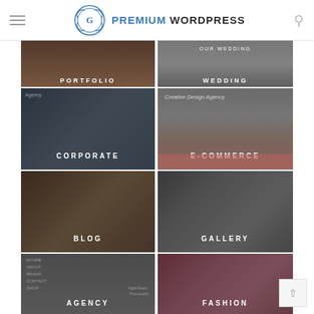Premium WordPress
[Figure (screenshot): Grid of WordPress theme demo thumbnails: Portfolio, Wedding, Corporate, E-Commerce, Blog, Gallery, Agency, Fashion]
[Figure (illustration): Scroll-to-top button (arrow up icon) at bottom right]